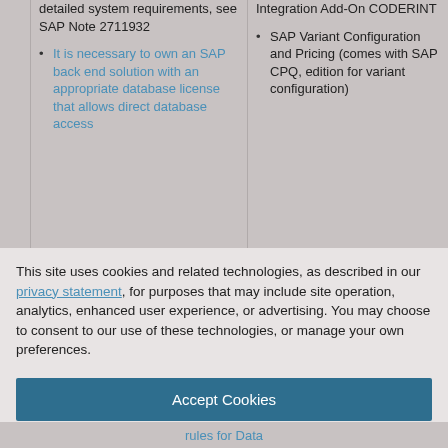detailed system requirements, see SAP Note 2711932
It is necessary to own an SAP back end solution with an appropriate database license that allows direct database access
Integration Add-On CODERINT
SAP Variant Configuration and Pricing (comes with SAP CPQ, edition for variant configuration)
This site uses cookies and related technologies, as described in our privacy statement, for purposes that may include site operation, analytics, enhanced user experience, or advertising. You may choose to consent to our use of these technologies, or manage your own preferences.
Accept Cookies
More Information
Privacy Policy | Powered by: TrustArc
rules for Data